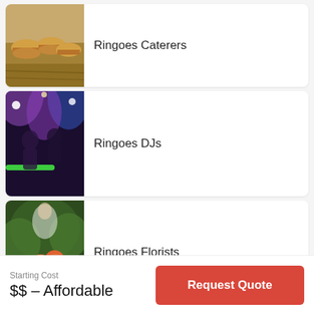Ringoes Caterers
Ringoes DJs
Ringoes Florists
Ringoes Reception Venues
Ringoes Videograp…
Starting Cost
$$ – Affordable
Request Quote